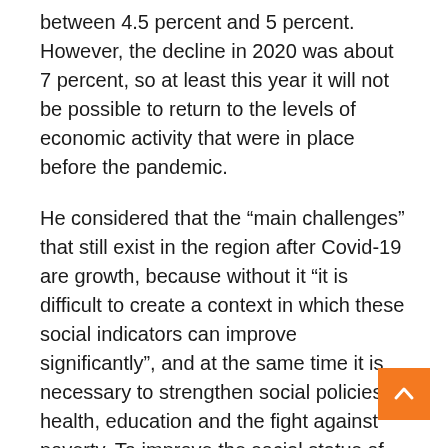between 4.5 percent and 5 percent. However, the decline in 2020 was about 7 percent, so at least this year it will not be possible to return to the levels of economic activity that were in place before the pandemic.
He considered that the “main challenges” that still exist in the region after Covid-19 are growth, because without it “it is difficult to create a context in which these social indicators can improve significantly”, and at the same time it is necessary to strengthen social policies in health, education and the fight against poverty. To improve the social status of countries.
He added, “As we emerge from the epidemic with high levels of debt and deficits, and with the economy returning to normal, it will also be